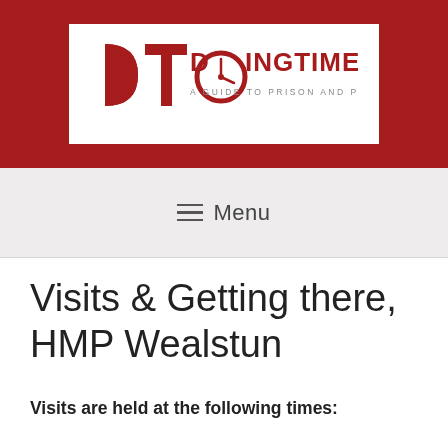[Figure (logo): Doing Time logo — DT monogram with clock, red text 'DOINGTIME', tagline 'A GUIDE TO PRISON AND PROBATION']
≡ Menu
Visits & Getting there, HMP Wealstun
Visits are held at the following times: